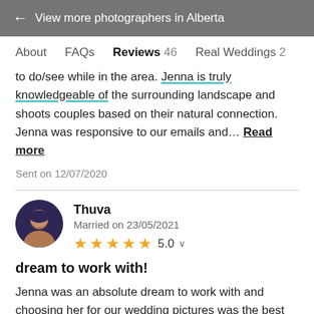← View more photographers in Alberta
About   FAQs   Reviews 46   Real Weddings 2
to do/see while in the area. Jenna is truly knowledgeable of the surrounding landscape and shoots couples based on their natural connection. Jenna was responsive to our emails and… Read more
Sent on 12/07/2020
Thuva
Married on 23/05/2021
★★★★★ 5.0
dream to work with!
Jenna was an absolute dream to work with and choosing her for our wedding pictures was the best decision we've ever made. She is an amazing photographer and her work speaks